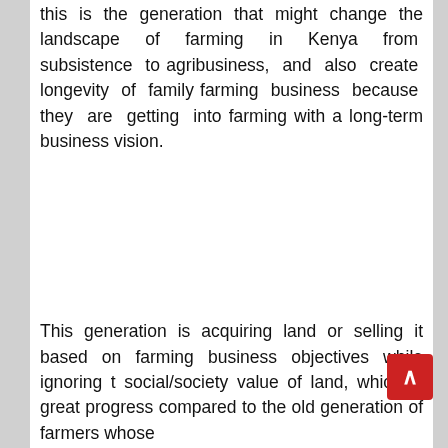this is the generation that might change the landscape of farming in Kenya from subsistence to agribusiness, and also create longevity of family farming business because they are getting into farming with a long-term business vision.
[Figure (photo): Empty white image placeholder area in the middle of the page]
This generation is acquiring land or selling it based on farming business objectives while ignoring the social/society value of land, which is great progress compared to the old generation of farmers whose